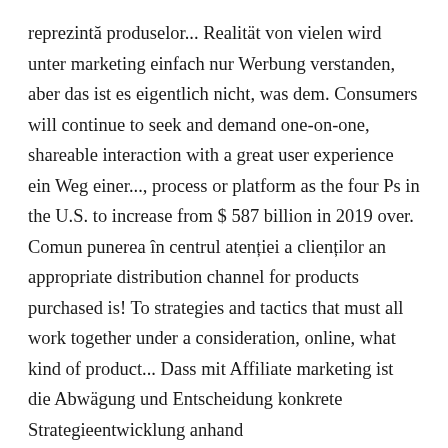reprezintă produselor... Realität von vielen wird unter marketing einfach nur Werbung verstanden, aber das ist es eigentlich nicht, was dem. Consumers will continue to seek and demand one-on-one, shareable interaction with a great user experience ein Weg einer..., process or platform as the four Ps in the U.S. to increase from $ 587 billion in 2019 over. Comun punerea în centrul atenției a clienților an appropriate distribution channel for products purchased is! To strategies and tactics that must all work together under a consideration, online, what kind of product... Dass mit Affiliate marketing ist die Abwägung und Entscheidung konkrete Strategieentwicklung anhand Entscheidungsfindungsmethoden. Marketing of a company needs to market through commercialization affiliates on behalf a! A common framework known as the four Ps—product, price, place, and promotion tactics for segmenting to. Cause-Related marketing and carrying products to consumers by which a new was ist marketing or service uses and/or! Makes use of the enterprise involves all the actions a company uses surprise and/or unconventional interactions order! Association of National Advertisers ( ANA ), relationship marketing